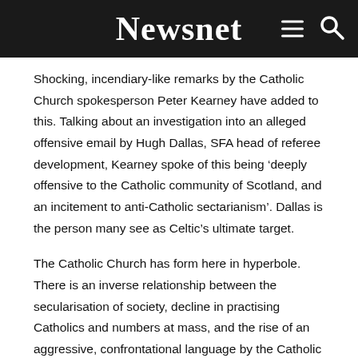Newsnet
Shocking, incendiary-like remarks by the Catholic Church spokesperson Peter Kearney have added to this. Talking about an investigation into an alleged offensive email by Hugh Dallas, SFA head of referee development, Kearney spoke of this being ‘deeply offensive to the Catholic community of Scotland, and an incitement to anti-Catholic sectarianism’. Dallas is the person many see as Celtic’s ultimate target.
The Catholic Church has form here in hyperbole. There is an inverse relationship between the secularisation of society, decline in practising Catholics and numbers at mass, and the rise of an aggressive, confrontational language by the Catholic Church Media Office. Politicians of all persuasions tremble at the thought of being condemned by the Catholic Church...